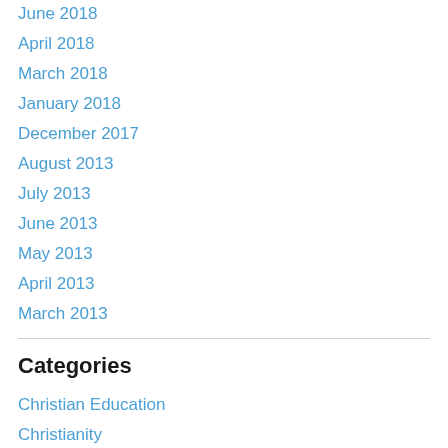June 2018
April 2018
March 2018
January 2018
December 2017
August 2013
July 2013
June 2013
May 2013
April 2013
March 2013
Categories
Christian Education
Christianity
consultation
Consulting
Cottage School